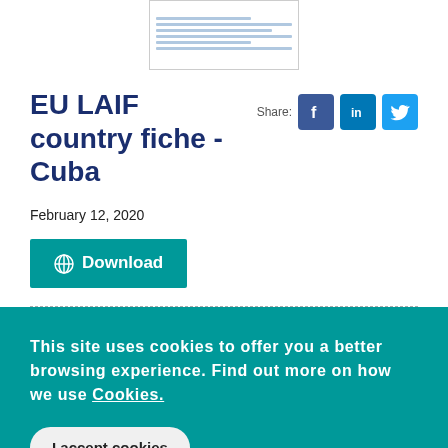[Figure (other): Thumbnail of a document page with several light blue horizontal lines representing text]
EU LAIF country fiche - Cuba
Share:
February 12, 2020
Download
This site uses cookies to offer you a better browsing experience. Find out more on how we use Cookies.
I accept cookies